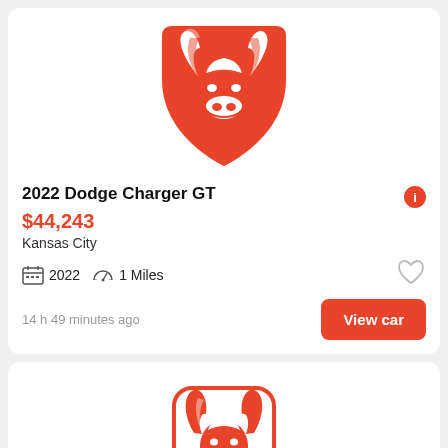[Figure (logo): Dodge Ram head logo in red on white background, shield shape, top portion of first listing card]
2022 Dodge Charger GT
$44,243
Kansas City
2022  1 Miles
14 h 49 minutes ago
View car
[Figure (logo): Dodge Ram head logo in red, rounded rectangle badge shape, partial second listing card]